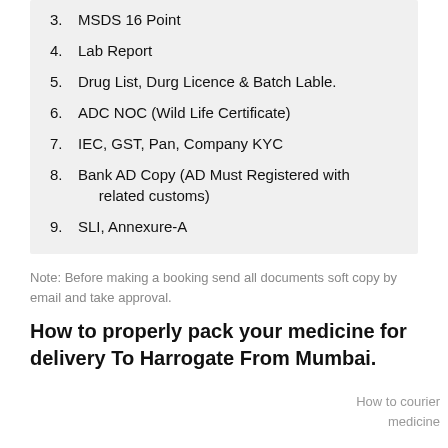3. MSDS 16 Point
4. Lab Report
5. Drug List, Durg Licence & Batch Lable.
6. ADC NOC (Wild Life Certificate)
7. IEC, GST, Pan, Company KYC
8. Bank AD Copy (AD Must Registered with related customs)
9. SLI, Annexure-A
Note: Before making a booking send all documents soft copy by email and take approval.
How to properly pack your medicine for delivery To Harrogate From Mumbai.
How to courier medicine